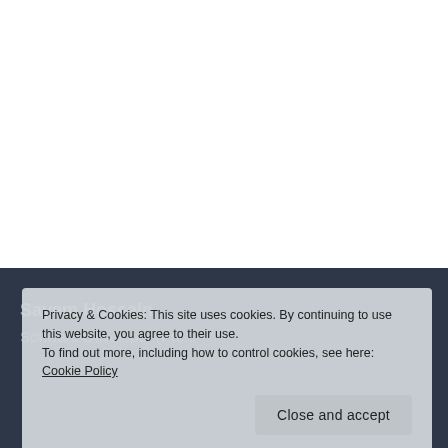[Figure (screenshot): White area at top representing a webpage background]
Sayem Hossain
Software Developer (Pre...
Privacy & Cookies: This site uses cookies. By continuing to use this website, you agree to their use.
To find out more, including how to control cookies, see here:
Cookie Policy
Close and accept